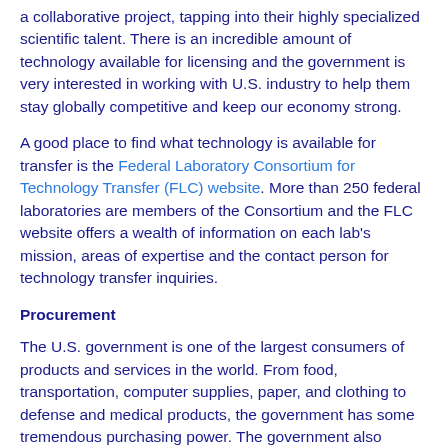a collaborative project, tapping into their highly specialized scientific talent. There is an incredible amount of technology available for licensing and the government is very interested in working with U.S. industry to help them stay globally competitive and keep our economy strong.
A good place to find what technology is available for transfer is the Federal Laboratory Consortium for Technology Transfer (FLC) website. More than 250 federal laboratories are members of the Consortium and the FLC website offers a wealth of information on each lab's mission, areas of expertise and the contact person for technology transfer inquiries.
Procurement
The U.S. government is one of the largest consumers of products and services in the world. From food, transportation, computer supplies, paper, and clothing to defense and medical products, the government has some tremendous purchasing power. The government also invests more in tough economic times. By opening a new sales channel with the government it is possible to balance the up and downs in the commercial market.
An additional benefit is, it's much easier to make an R&D